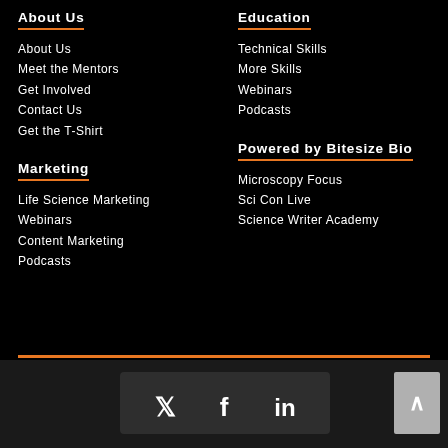About Us
About Us
Meet the Mentors
Get Involved
Contact Us
Get the T-Shirt
Education
Technical Skills
More Skills
Webinars
Podcasts
Marketing
Life Science Marketing
Webinars
Content Marketing
Podcasts
Powered by Bitesize Bio
Microscopy Focus
Sci Con Live
Science Writer Academy
[Figure (infographic): Social media icons bar with Twitter, Facebook, and LinkedIn icons on dark background, plus a back-to-top arrow button]